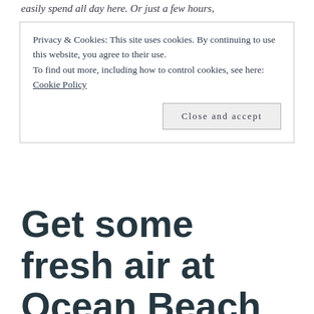easily spend all day here. Or just a few hours,
Privacy & Cookies: This site uses cookies. By continuing to use this website, you agree to their use.
To find out more, including how to control cookies, see here:
Cookie Policy
Close and accept
Get some fresh air at Ocean Beach